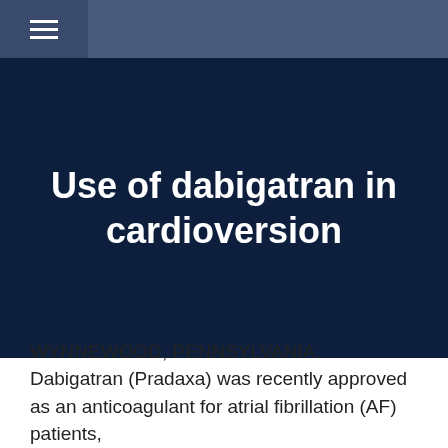≡
Use of dabigatran in cardioversion
WYNNEWOOD, PENNSYLVANIA. Dabigatran (Pradaxa) was recently approved as an anticoagulant for atrial fibrillation (AF) patients,